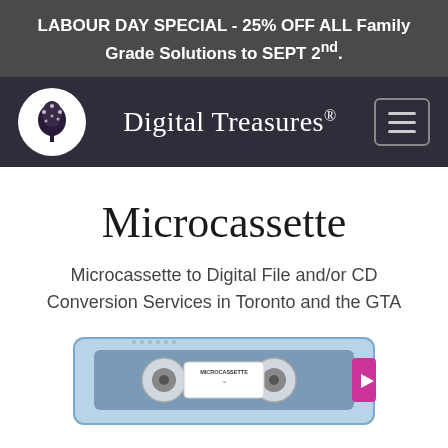LABOUR DAY SPECIAL - 25% OFF ALL Family Grade Solutions to SEPT 2nd.
[Figure (logo): Digital Treasures logo: tree icon in white circle on dark navy navbar, with brand name 'Digital Treasures®' and hamburger menu icon]
Microcassette
Microcassette to Digital File and/or CD Conversion Services in Toronto and the GTA
[Figure (photo): Photo of a microcassette tape, partially visible at bottom of page, showing blue and silver cassette with MICROCASSETTE label]